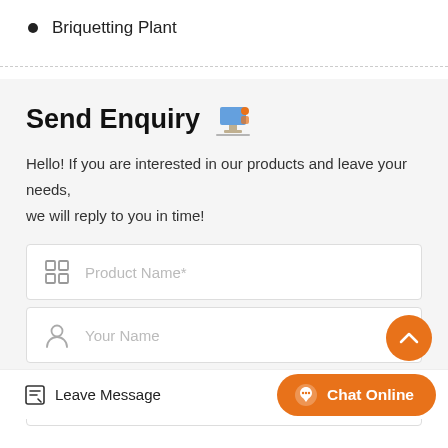Briquetting Plant
Send Enquiry
Hello! If you are interested in our products and leave your needs, we will reply to you in time!
[Figure (infographic): Form fields for Product Name, Your Name, and Email with icons]
Leave Message
Chat Online